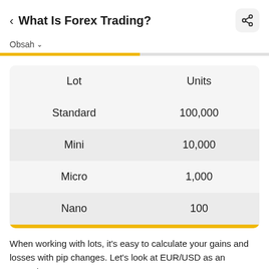< What Is Forex Trading?
Obsah ▾
| Lot | Units |
| --- | --- |
| Standard | 100,000 |
| Mini | 10,000 |
| Micro | 1,000 |
| Nano | 100 |
When working with lots, it's easy to calculate your gains and losses with pip changes. Let's look at EUR/USD as an example:
EURUSD:CUR